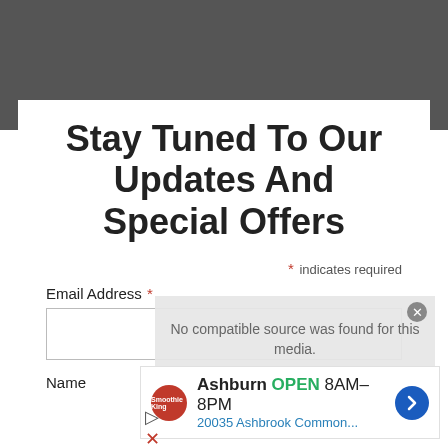[Figure (photo): Dark background photo of an interior/furniture scene, partially visible at the top]
Stay Tuned To Our Updates And Special Offers
* indicates required
Email Address *
Name
No compatible source was found for this media.
[Figure (infographic): Advertisement banner: Smoothie King logo, Ashburn OPEN 8AM-8PM, 20035 Ashbrook Common..., navigation arrow icon]